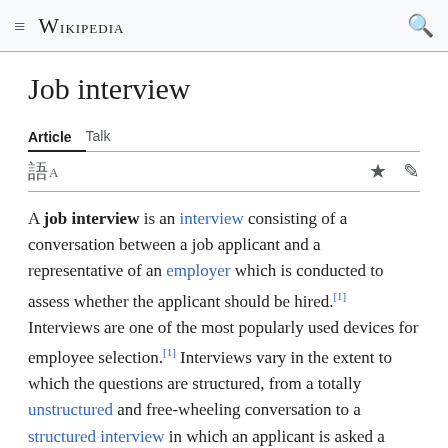Wikipedia
Job interview
Article   Talk
A job interview is an interview consisting of a conversation between a job applicant and a representative of an employer which is conducted to assess whether the applicant should be hired.[1] Interviews are one of the most popularly used devices for employee selection.[1] Interviews vary in the extent to which the questions are structured, from a totally unstructured and free-wheeling conversation to a structured interview in which an applicant is asked a predetermined list of questions in a